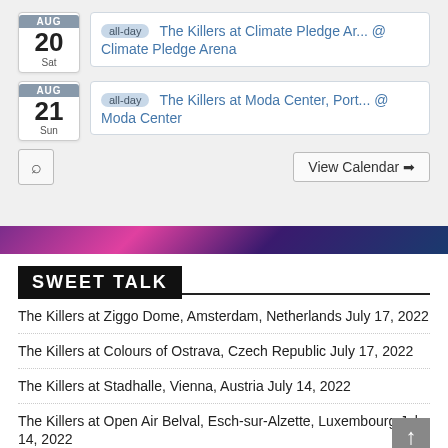AUG 20 Sat — all-day — The Killers at Climate Pledge Ar... @ Climate Pledge Arena
AUG 21 Sun — all-day — The Killers at Moda Center, Port... @ Moda Center
View Calendar →
SWEET TALK
The Killers at Ziggo Dome, Amsterdam, Netherlands July 17, 2022
The Killers at Colours of Ostrava, Czech Republic July 17, 2022
The Killers at Stadhalle, Vienna, Austria July 14, 2022
The Killers at Open Air Belval, Esch-sur-Alzette, Luxembourg July 14, 2022